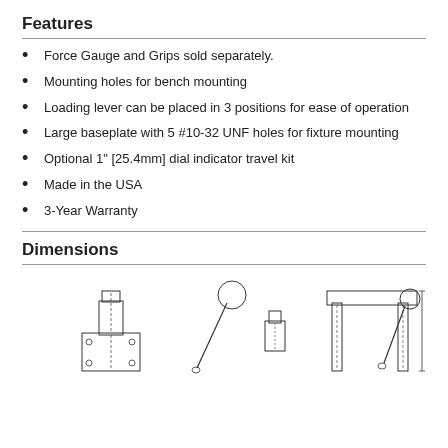Features
Force Gauge and Grips sold separately.
Mounting holes for bench mounting
Loading lever can be placed in 3 positions for ease of operation
Large baseplate with 5 #10-32 UNF holes for fixture mounting
Optional 1" [25.4mm] dial indicator travel kit
Made in the USA
3-Year Warranty
Dimensions
[Figure (engineering-diagram): Engineering dimension drawings of a mechanical testing device shown from multiple views: front view with mounting base, side view with lever arm, and a compact top-view and right-side perspective showing columns and lever detail.]